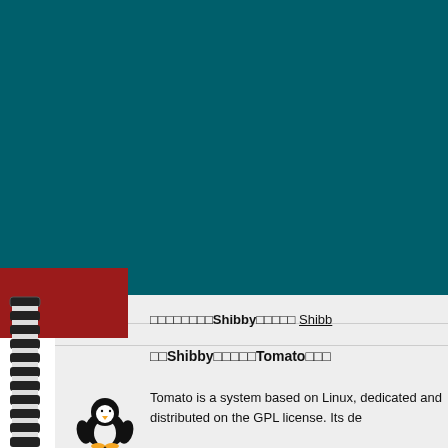[Figure (illustration): Teal dark green background covering the top portion of the page, resembling a notebook cover with a red tab on the left and a spiral binding along the left edge.]
□□□□□□□□Shibby□□□□□ Shibb
□□Shibby□□□□□Tomato□□□
Tomato is a system based on Linux, dedicated and distributed on the GPL license. Its de